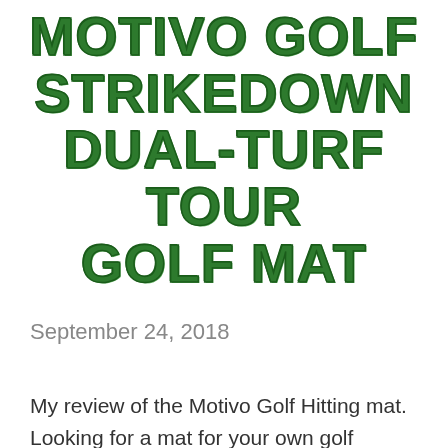MOTIVO GOLF STRIKEDOWN DUAL-TURF TOUR GOLF MAT
September 24, 2018
My review of the Motivo Golf Hitting mat. Looking for a mat for your own golf practice that is affordable and high quality then this mat could be a good option to help you work on your golf game. And this golf mat won't leave green marks on the bottom of your club.